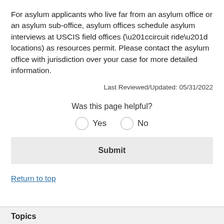For asylum applicants who live far from an asylum office or an asylum sub-office, asylum offices schedule asylum interviews at USCIS field offices (“circuit ride” locations) as resources permit. Please contact the asylum office with jurisdiction over your case for more detailed information.
Last Reviewed/Updated: 05/31/2022
Was this page helpful?
Yes   No
Submit
Return to top
Topics